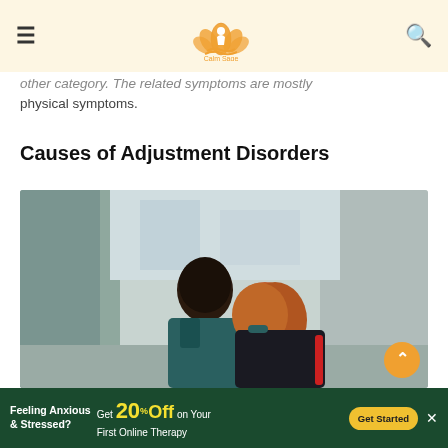Calm Sage (logo with hamburger menu and search icon)
other category. The related symptoms are mostly physical symptoms.
Causes of Adjustment Disorders
[Figure (photo): Two people seen from behind, leaning on each other, walking between walls. One has dark hair and teal jacket, the other has long auburn hair and dark coat with red bag.]
Feeling Anxious & Stressed? Get 20% Off on Your First Online Therapy Get Started